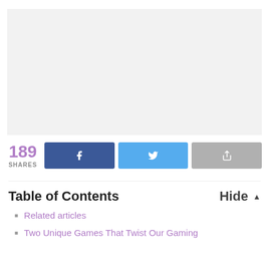[Figure (other): Light gray image placeholder area]
189 SHARES
[Figure (infographic): Facebook share button (dark blue with f icon), Twitter share button (blue with bird icon), and gray share/forward button]
Table of Contents
Hide ▲
Related articles
Two Unique Games That Twist Our Gaming